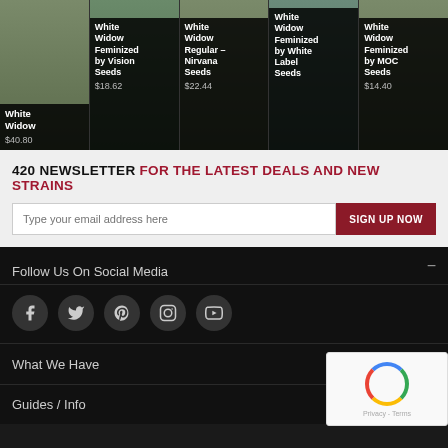[Figure (screenshot): Five product cards showing White Widow cannabis seed variants with prices: White Widow $40.80, White Widow Feminized by Vision Seeds $18.62, White Widow Regular - Nirvana Seeds $22.44, White Widow Feminized by White Label Seeds, White Widow Feminized by MOC Seeds $14.40]
420 NEWSLETTER FOR THE LATEST DEALS AND NEW STRAINS
Type your email address here | SIGN UP NOW
Follow Us On Social Media
[Figure (infographic): Social media icons: Facebook, Twitter, Pinterest, Instagram, YouTube]
What We Have
Guides / Info